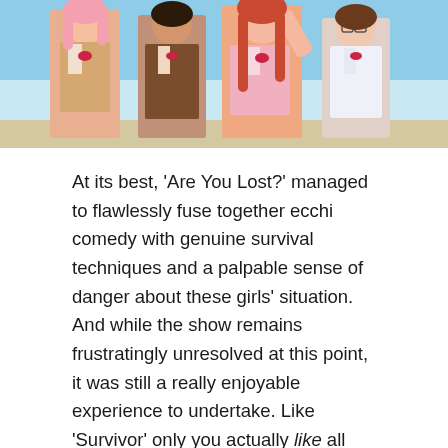[Figure (illustration): Anime illustration showing four female characters standing together against a blue sky background. Characters wear school uniforms with red bow ties. From left to right: a pink-haired girl in a tan cardigan, a dark-haired girl in a brown vest, a long red-haired girl in pink, and a short brown-haired girl with glasses in white.]
At its best, 'Are You Lost?' managed to flawlessly fuse together ecchi comedy with genuine survival techniques and a palpable sense of danger about these girls' situation. And while the show remains frustratingly unresolved at this point, it was still a really enjoyable experience to undertake. Like 'Survivor' only you actually like all the characters involved.
given
82/100